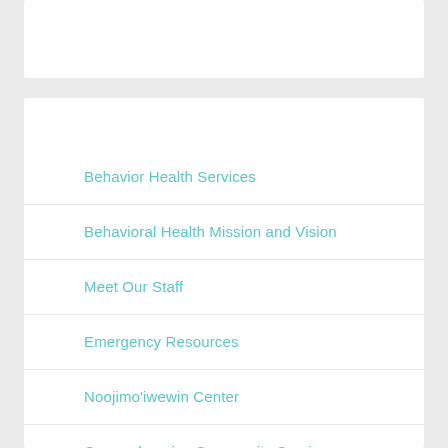Behavior Health Services
Behavioral Health Mission and Vision
Meet Our Staff
Emergency Resources
Noojimo'iwewin Center
Comprehensive Community Services and Coordinated Services Team
Behavioral Health/AODA